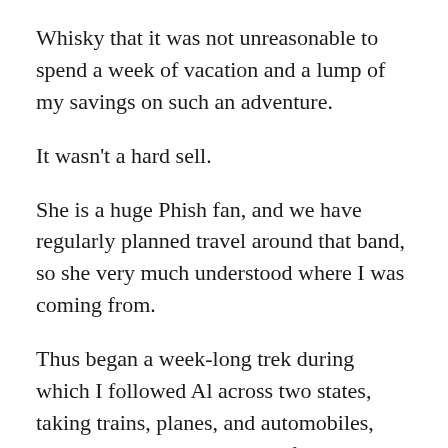Whisky that it was not unreasonable to spend a week of vacation and a lump of my savings on such an adventure.
It wasn't a hard sell.
She is a huge Phish fan, and we have regularly planned travel around that band, so she very much understood where I was coming from.
Thus began a week-long trek during which I followed Al across two states, taking trains, planes, and automobiles, whilst interspersing visits to friends and conducting other fun activities with  The Empress.